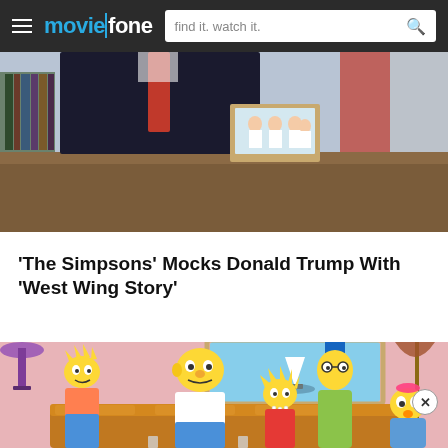moviefone — find it. watch it.
[Figure (screenshot): Animated scene showing a figure in a dark suit at a presidential desk with an American flag and a framed family photo in the background — appears to be from The Simpsons parody of the White House Oval Office.]
'The Simpsons' Mocks Donald Trump With 'West Wing Story'
[Figure (screenshot): Scene from The Simpsons animated TV show showing the Simpson family — Bart, Homer, Marge, Lisa, and Maggie — sitting on their couch in the living room with a sailboat painting on the pink wall, a purple lamp, and a floor lamp visible.]